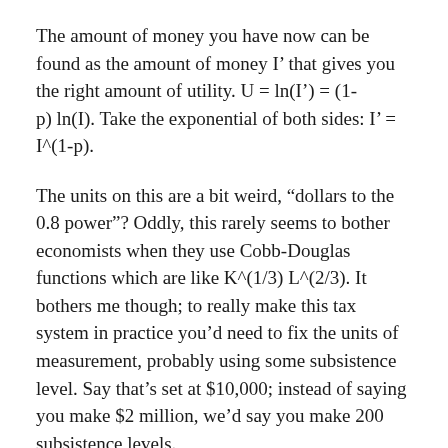The amount of money you have now can be found as the amount of money I' that gives you the right amount of utility. U = ln(I') = (1-p) ln(I). Take the exponential of both sides: I' = I^(1-p).
The units on this are a bit weird, “dollars to the 0.8 power”? Oddly, this rarely seems to bother economists when they use Cobb-Douglas functions which are like K^(1/3) L^(2/3). It bothers me though; to really make this tax system in practice you’d need to fix the units of measurement, probably using some subsistence level. Say that’s set at $10,000; instead of saying you make $2 million, we’d say you make 200 subsistence levels.